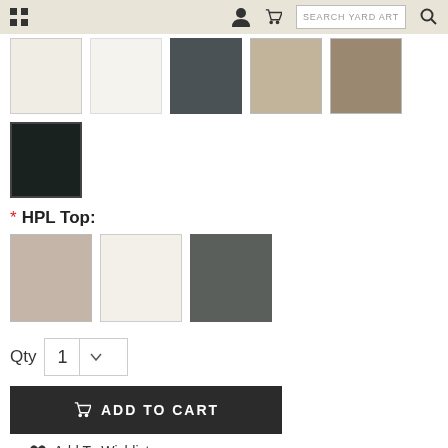SEARCH YARD ART
[Figure (other): Color swatches row 1: cream/ivory, white, dark slate, tan/khaki, taupe/brown]
[Figure (other): Color swatch selected: black/near-black with dark border]
* HPL Top:
[Figure (other): HPL Top color swatches: taupe/rose-beige, off-white/cream, dark charcoal]
Qty 1
ADD TO CART
Add To Wishlist
Square Aluminum And High Pressure